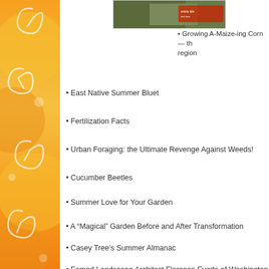[Figure (illustration): Decorative orange sidebar with swirl/floral patterns in yellow and white on orange background]
[Figure (photo): Small photo of corn or garden scene with red text overlay at top center of content area]
• Growing A-Maize-ing Corn — th... region
• East Native Summer Bluet
• Fertilization Facts
• Urban Foraging: the Ultimate Revenge Against Weeds!
• Cucumber Beetles
• Summer Love for Your Garden
• A “Magical” Garden Before and After Transformation
• Casey Tree’s Summer Almanac
• Famed Landscape Architect Florence Everts of Washington, D...
• An Interview with Linna the Locavore and much, much more...
To subscribe, online go to www.washingtongardener.com/inde...